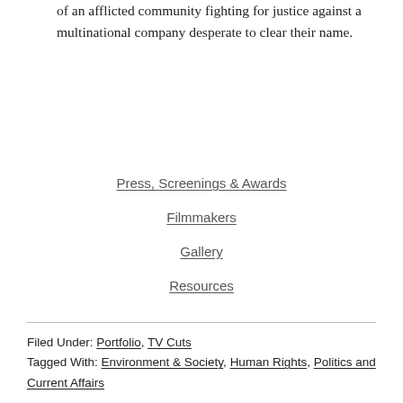of an afflicted community fighting for justice against a multinational company desperate to clear their name.
Press, Screenings & Awards
Filmmakers
Gallery
Resources
Filed Under: Portfolio, TV Cuts Tagged With: Environment & Society, Human Rights, Politics and Current Affairs